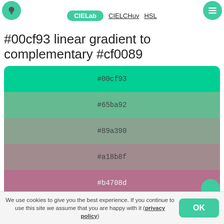CIELab  CIELCHuv  HSL
#00cf93 linear gradient to complementary #cf0089
[Figure (infographic): Linear gradient swatch table from #00cf93 (teal) to #cf0089 (magenta) with 7 color stops: #00cf93, #65ba92, #89a390, #a18b8f, #b4708d, #c34d8b, #cf0089]
Monochromatic Colors
We use cookies to give you the best experience. If you continue to use this site we assume that you are happy with it (privacy policy)